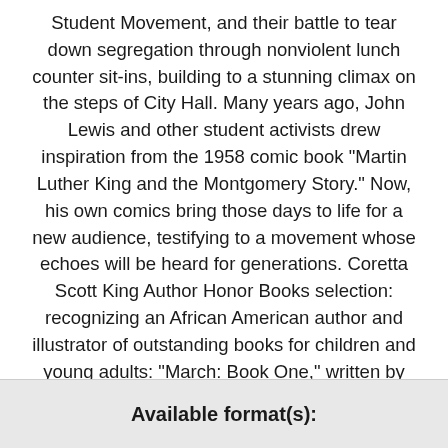Student Movement, and their battle to tear down segregation through nonviolent lunch counter sit-ins, building to a stunning climax on the steps of City Hall. Many years ago, John Lewis and other student activists drew inspiration from the 1958 comic book "Martin Luther King and the Montgomery Story." Now, his own comics bring those days to life for a new audience, testifying to a movement whose echoes will be heard for generations. Coretta Scott King Author Honor Books selection: recognizing an African American author and illustrator of outstanding books for children and young adults: "March: Book One," written by John Lewis and Andrew Aydin, illustrated by Nate Powell, and published by Top Shelf Productions.
Available format(s):